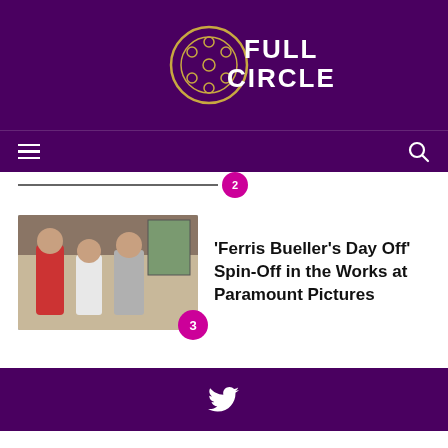[Figure (logo): Full Circle film magazine logo with film reel icon, white text on purple background]
[Figure (other): Hamburger menu icon and search icon on purple navigation bar]
3
[Figure (photo): Movie still from Ferris Bueller's Day Off showing three characters in a museum]
'Ferris Bueller's Day Off' Spin-Off in the Works at Paramount Pictures
[Figure (other): Twitter bird icon on purple footer background]